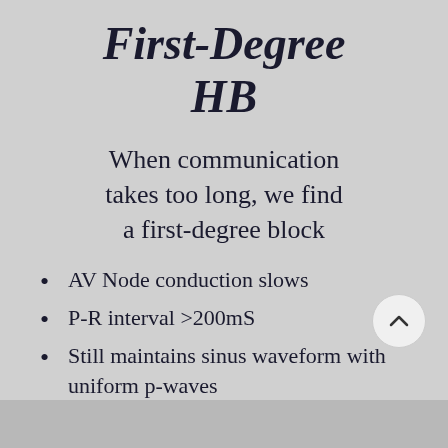First-Degree HB
When communication takes too long, we find a first-degree block
AV Node conduction slows
P-R interval >200mS
Still maintains sinus waveform with uniform p-waves